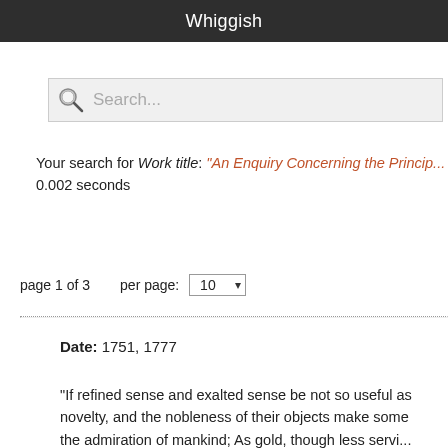Whiggish
[Figure (other): Search box with magnifying glass icon and placeholder text 'Search...']
Your search for Work title: "An Enquiry Concerning the Principl... 0.002 seconds
page 1 of 3    per page: 10
Date: 1751, 1777
"If refined sense and exalted sense be not so useful as novelty, and the nobleness of their objects make some the admiration of mankind; As gold, though less servi...